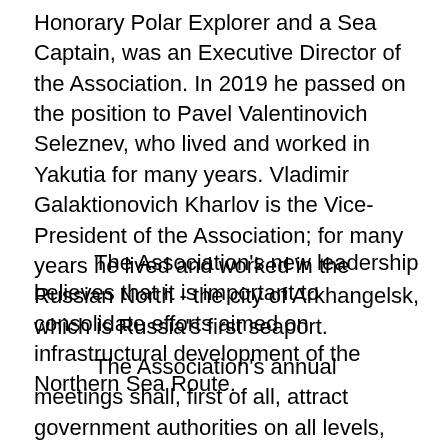Honorary Polar Explorer and a Sea Captain, was an Executive Director of the Association. In 2019 he passed on the position to Pavel Valentinovich Seleznev, who lived and worked in Yakutia for many years. Vladimir Galaktionovich Kharlov is the Vice-President of the Association; for many years he lived and worked in the Russian North - the city of Arkhangelsk, which is Russia's first seaport.
The Association's new leadership believes that it is important to consolidate efforts aimed on infrastructural development of the Northern Sea Route.
The Association's annual meetings shall, first of all, attract government authorities on all levels, representatives of transportation business, ports, energy sector, NSR Administration, scientific-research